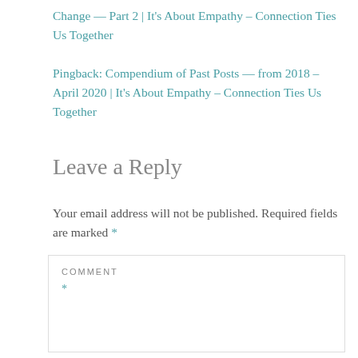Change — Part 2 | It's About Empathy – Connection Ties Us Together
Pingback: Compendium of Past Posts — from 2018 – April 2020 | It's About Empathy – Connection Ties Us Together
Leave a Reply
Your email address will not be published. Required fields are marked *
COMMENT
*